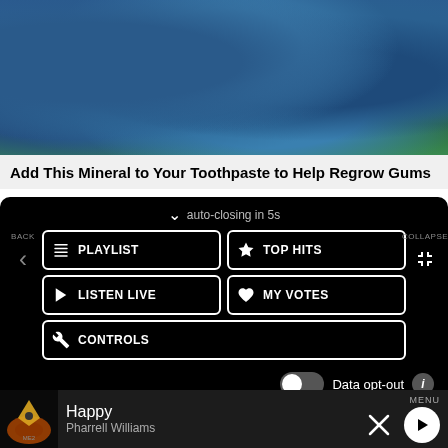[Figure (photo): Photo of blue-colored berries or seed pods held in a hand with green leaf visible in background]
Add This Mineral to Your Toothpaste to Help Regrow Gums
auto-closing in 5s
PLAYLIST
TOP HITS
LISTEN LIVE
MY VOTES
CONTROLS
Data opt-out
Happy
Pharrell Williams